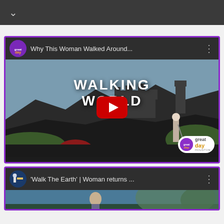[Figure (screenshot): Dark top navigation bar with a chevron/down arrow icon on the left]
[Figure (screenshot): YouTube-style embedded video card titled 'Why This Woman Walked Around...' with a thumbnail showing a mountain castle landscape with text 'WALKING WORLD' and a red play button. GreatDay Houston logo appears in the top-left and bottom-right.]
[Figure (screenshot): Second YouTube-style video card partially visible, titled 'Walk The Earth' | Woman returns ... with a thumbnail showing a woman outdoors.]